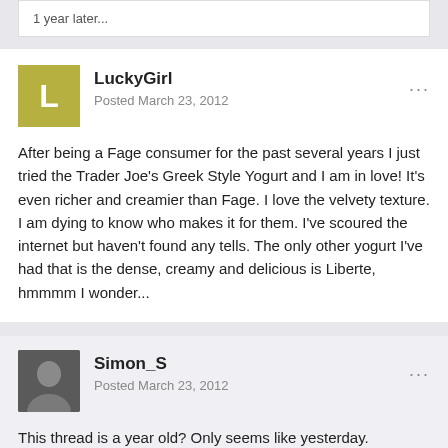1 year later...
LuckyGirl
Posted March 23, 2012
After being a Fage consumer for the past several years I just tried the Trader Joe's Greek Style Yogurt and I am in love! It's even richer and creamier than Fage. I love the velvety texture. I am dying to know who makes it for them. I've scoured the internet but haven't found any tells. The only other yogurt I've had that is the dense, creamy and delicious is Liberte, hmmmm I wonder...
Simon_S
Posted March 23, 2012
This thread is a year old? Only seems like yesterday.
I've recently been enjoying Glenisk goat milk yogurt. You can